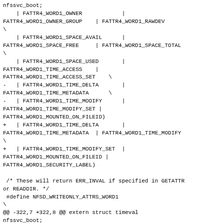nfssvc_boot;
    | FATTR4_WORD1_OWNER            |
FATTR4_WORD1_OWNER_GROUP    | FATTR4_WORD1_RAWDEV
\
    | FATTR4_WORD1_SPACE_AVAIL      |
FATTR4_WORD1_SPACE_FREE     | FATTR4_WORD1_SPACE_TOTAL
\
    | FATTR4_WORD1_SPACE_USED       |
FATTR4_WORD1_TIME_ACCESS    |
FATTR4_WORD1_TIME_ACCESS_SET    \
-   | FATTR4_WORD1_TIME_DELTA       |
FATTR4_WORD1_TIME_METADATA      \
-   | FATTR4_WORD1_TIME_MODIFY      |
FATTR4_WORD1_TIME_MODIFY_SET |
FATTR4_WORD1_MOUNTED_ON_FILEID)
+   | FATTR4_WORD1_TIME_DELTA       |
FATTR4_WORD1_TIME_METADATA  | FATTR4_WORD1_TIME_MODIFY
\
+   | FATTR4_WORD1_TIME_MODIFY_SET  |
FATTR4_WORD1_MOUNTED_ON_FILEID |
FATTR4_WORD1_SECURITY_LABEL)

 /* These will return ERR_INVAL if specified in GETATTR
or READDIR. */
 #define NFSD_WRITEONLY_ATTRS_WORD1
\
@@ -322,7 +322,8 @@ extern struct timeval
nfssvc_boot;
 (FATTR4_WORD0_SIZE               | FATTR4_WORD0_ACL
)
#define NFSD_WRITEABLE_ATTRS_WORD1